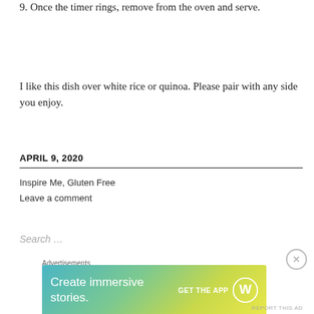9. Once the timer rings, remove from the oven and serve.
I like this dish over white rice or quinoa. Please pair with any side you enjoy.
APRIL 9, 2020
Inspire Me, Gluten Free
Leave a comment
Search …
[Figure (other): WordPress advertisement banner: 'Create immersive stories. GET THE APP' with WordPress logo on gradient background.]